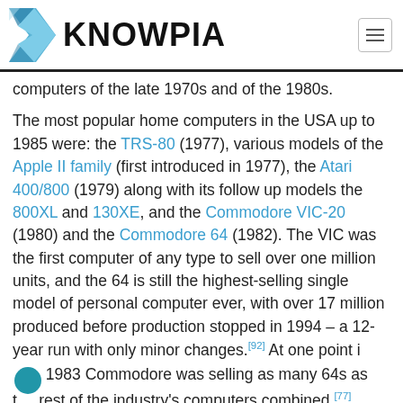KNOWPIA
computers of the late 1970s and of the 1980s.
The most popular home computers in the USA up to 1985 were: the TRS-80 (1977), various models of the Apple II family (first introduced in 1977), the Atari 400/800 (1979) along with its follow up models the 800XL and 130XE, and the Commodore VIC-20 (1980) and the Commodore 64 (1982). The VIC was the first computer of any type to sell over one million units, and the 64 is still the highest-selling single model of personal computer ever, with over 17 million produced before production stopped in 1994 – a 12-year run with only minor changes.[92] At one point in 1983 Commodore was selling as many 64s as the rest of the industry's computers combined.[77]